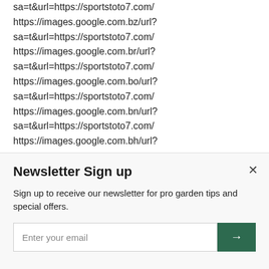sa=t&url=https://sportstoto7.com/ https://images.google.com.bz/url? sa=t&url=https://sportstoto7.com/ https://images.google.com.br/url? sa=t&url=https://sportstoto7.com/ https://images.google.com.bo/url? sa=t&url=https://sportstoto7.com/ https://images.google.com.bn/url? sa=t&url=https://sportstoto7.com/ https://images.google.com.bh/url?
Newsletter Sign up
Sign up to receive our newsletter for pro garden tips and special offers.
Enter your email